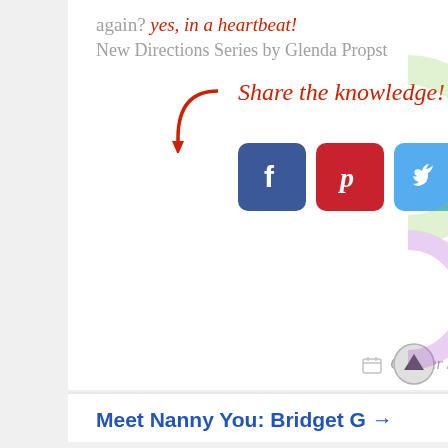again? yes, in a heartbeat!
New Directions Series by Glenda Propst
Share the knowledge!
[Figure (infographic): Four social media share buttons: Facebook (blue), Pinterest (red), Twitter (light blue), and a green share button, with a red cursive arrow pointing to them.]
Glenda Propst
new directions
October 3, 2012   Glenda
Meet Nanny You: Bridget G →